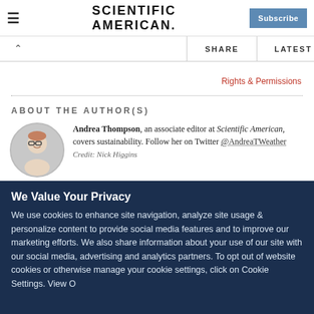SCIENTIFIC AMERICAN
SHARE  LATEST
Rights & Permissions
ABOUT THE AUTHOR(S)
Andrea Thompson, an associate editor at Scientific American, covers sustainability. Follow her on Twitter @AndreaTWeather  Credit: Nick Higgins
We Value Your Privacy
We use cookies to enhance site navigation, analyze site usage & personalize content to provide social media features and to improve our marketing efforts. We also share information about your use of our site with our social media, advertising and analytics partners. To opt out of website cookies or otherwise manage your cookie settings, click on Cookie Settings. View O…